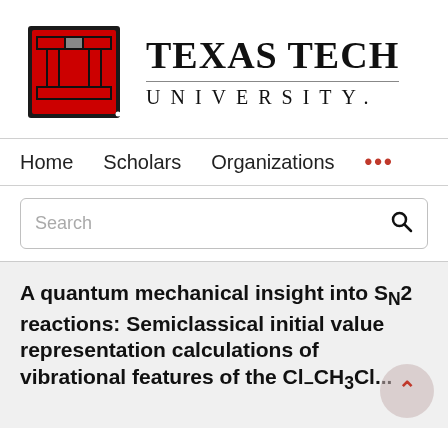[Figure (logo): Texas Tech University Double T logo in red, black and white with 'TEXAS TECH UNIVERSITY.' text]
Home   Scholars   Organizations   ...
Search
A quantum mechanical insight into S_N2 reactions: Semiclassical initial value representation calculations of vibrational features of the Cl-CH3Cl... (truncated)